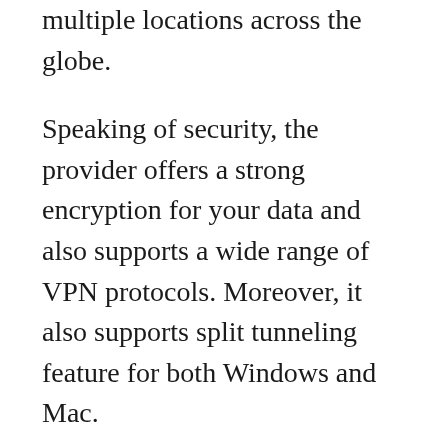multiple locations across the globe.
Speaking of security, the provider offers a strong encryption for your data and also supports a wide range of VPN protocols. Moreover, it also supports split tunneling feature for both Windows and Mac.
The biggest advantage of choosing ExpressVPN is that it does not keep any records of connection logs and activity logs. Even you can read it clearly on their privacy policy.
The provider has over 2000 servers across 94 countries. Their servers are optimized to offer robust connection allows endless server switches. It means you can connect to a server of your own choice. In